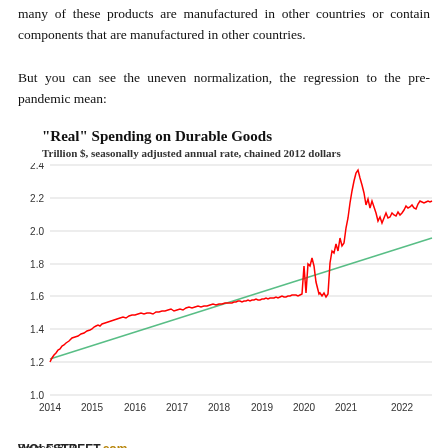many of these products are manufactured in other countries or contain components that are manufactured in other countries.
But you can see the uneven normalization, the regression to the pre-pandemic mean:
[Figure (line-chart): "Real" Spending on Durable Goods]
Source: BEA    WOLFSTREET.com